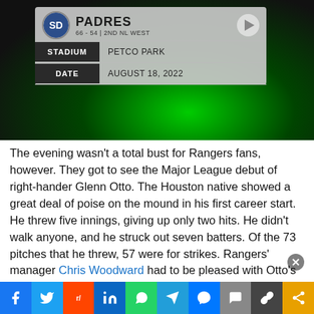[Figure (screenshot): Game card showing San Diego Padres (66-54, 2nd NL West), Stadium: Petco Park, Date: August 18, 2022, on a dark green background with play button]
The evening wasn't a total bust for Rangers fans, however. They got to see the Major League debut of right-hander Glenn Otto. The Houston native showed a great deal of poise on the mound in his first career start. He threw five innings, giving up only two hits. He didn't walk anyone, and he struck out seven batters. Of the 73 pitches that he threw, 57 were for strikes. Rangers' manager Chris Woodward had to be pleased with Otto's effort. It is unclear at this point if Otto will get another start down the road, but he definitely earned it.
[Figure (infographic): Social sharing bar with Facebook, Twitter, Reddit, LinkedIn, WhatsApp, Telegram, Messenger, Comments, Link, Share buttons]